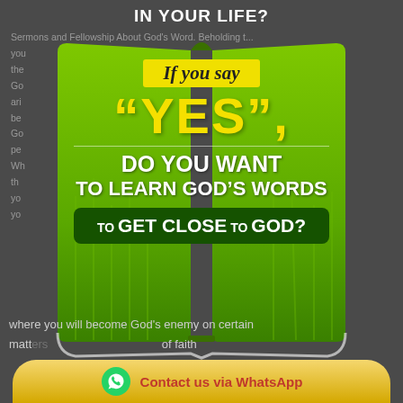IN YOUR LIFE?
Sermons and Fellowship About God's Word. Beholding t— you ... the ... Go ... ari ... till be ... t Go ... pe ... Wh ... th ... yo ... , yo ...
[Figure (illustration): Open green Bible book popup overlay with text: 'If you say "YES", DO YOU WANT TO LEARN GOD'S WORDS TO GET CLOSE TO GOD?' on a green grass background]
where you will become God's enemy on certain matt... of faith
Contact us via WhatsApp